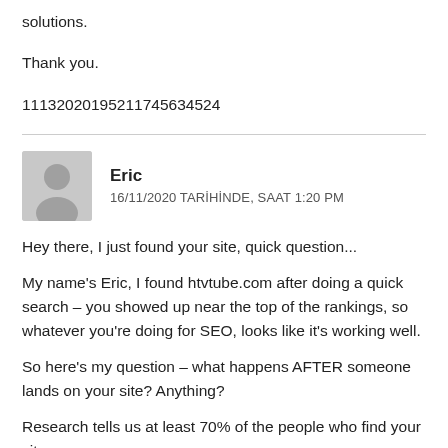solutions.
Thank you.
111320201952117456​34524
Eric
16/11/2020 TARİHİNDE, SAAT 1:20 PM
Hey there, I just found your site, quick question...
My name's Eric, I found htvtube.com after doing a quick search – you showed up near the top of the rankings, so whatever you're doing for SEO, looks like it's working well.
So here's my question – what happens AFTER someone lands on your site? Anything?
Research tells us at least 70% of the people who find your site,